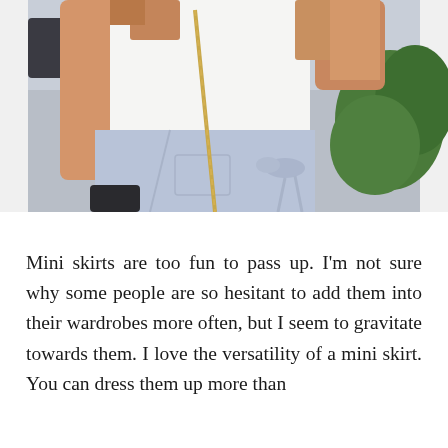[Figure (photo): A woman wearing a white sleeveless top and a light blue/periwinkle mini wrap skirt with a bow tie detail on the side and a front pocket. She carries a gold chain-strap bag. Green foliage visible in the background.]
Mini skirts are too fun to pass up. I'm not sure why some people are so hesitant to add them into their wardrobes more often, but I seem to gravitate towards them. I love the versatility of a mini skirt. You can dress them up more than